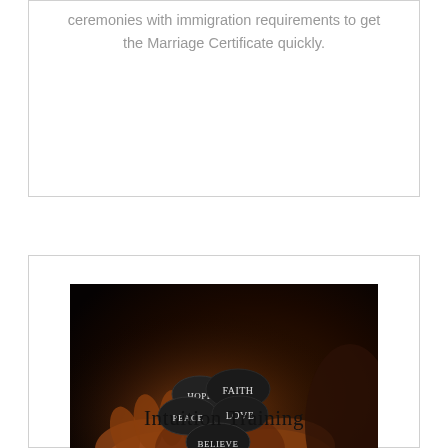ceremonies with immigration requirements to get the Marriage Certificate quickly.
[Figure (photo): Two hands cupping several dark stones engraved with words: HOPE, FAITH, PEACE, LOVE, BELIEVE, on a dark background.]
Intuition Training